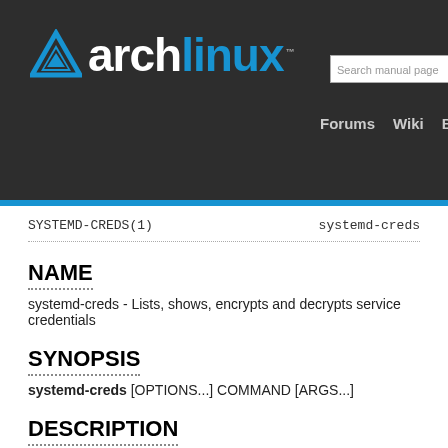[Figure (logo): Arch Linux logo with blue triangle and text 'archlinux' with trademark symbol, set in dark header bar with search box and navigation links (Forums, Wiki, Bugs)]
SYSTEMD-CREDS(1)    systemd-creds
NAME
systemd-creds - Lists, shows, encrypts and decrypts service credentials
SYNOPSIS
systemd-creds [OPTIONS...] COMMAND [ARGS...]
DESCRIPTION
systemd-creds is a tool for listing, showing, encrypting and de... Credentials are limited-size binary or textual objects that may be pass... are primarily used for passing cryptographic keys (both public and p... account information or identity information from the host to services.